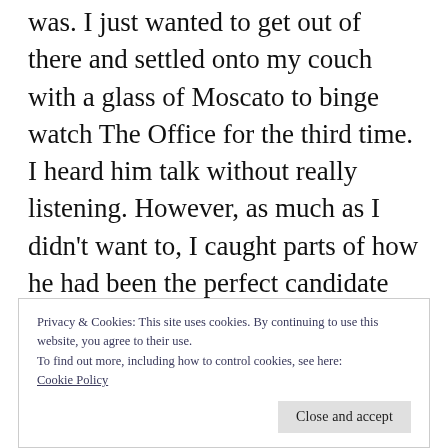was. I just wanted to get out of there and settled onto my couch with a glass of Moscato to binge watch The Office for the third time. I heard him talk without really listening. However, as much as I didn't want to, I caught parts of how he had been the perfect candidate for the job because he was American and used to be a waiter.  Apparently he had dropped something in her drink. She had gone to the bathroom and the rest was history.
Privacy & Cookies: This site uses cookies. By continuing to use this website, you agree to their use.
To find out more, including how to control cookies, see here: Cookie Policy